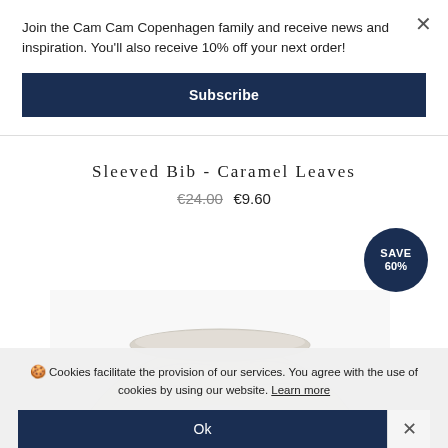Join the Cam Cam Copenhagen family and receive news and inspiration. You'll also receive 10% off your next order!
Subscribe
Sleeved Bib - Caramel Leaves
€24.00 €9.60
[Figure (photo): White/cream sleeved bib product photo showing fabric collar shape against white background, with circular dark blue SAVE 60% badge overlay]
🍪 Cookies facilitate the provision of our services. You agree with the use of cookies by using our website. Learn more
Ok